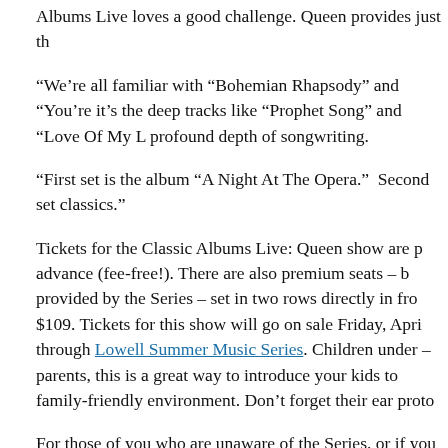Albums Live loves a good challenge. Queen provides just th
“We’re all familiar with “Bohemian Rhapsody” and “You’re it’s the deep tracks like “Prophet Song” and “Love Of My L profound depth of songwriting.
“First set is the album “A Night At The Opera.”  Second set classics.”
Tickets for the Classic Albums Live: Queen show are p advance (fee-free!). There are also premium seats – b provided by the Series – set in two rows directly in fro $109. Tickets for this show will go on sale Friday, Apri through Lowell Summer Music Series. Children under – parents, this is a great way to introduce your kids to family-friendly environment. Don’t forget their ear proto
For those of you who are unaware of the Series, or if you a